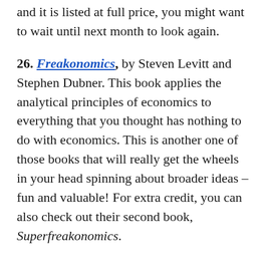on a rotating basis, so if you click through and it is listed at full price, you might want to wait until next month to look again.
26. Freakonomics, by Steven Levitt and Stephen Dubner. This book applies the analytical principles of economics to everything that you thought has nothing to do with economics. This is another one of those books that will really get the wheels in your head spinning about broader ideas – fun and valuable! For extra credit, you can also check out their second book, Superfreakonomics.